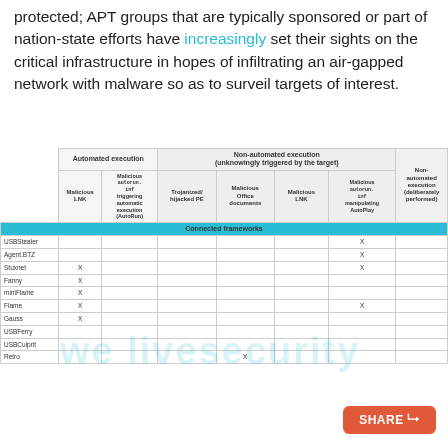protected; APT groups that are typically sponsored or part of nation-state efforts have increasingly set their sights on the critical infrastructure in hopes of infiltrating an air-gapped network with malware so as to surveil targets of interest.
|  | Automated execution | Malicious autorun.inf triggering automatic execution (AutoRun) | Trojanized/hijacked PE | Malicious Office documents | Malicious LNK | Malicious autorun.inf manipulating AutoPlay | Non-automated execution (deliberately performed) |
| --- | --- | --- | --- | --- | --- | --- | --- |
| Connected frameworks |  |  |  |  |  |  |  |
| USBStealer |  |  |  |  |  | X |  |
| Agent.BTZ |  |  |  |  |  | X |  |
| Stuxnet | X |  |  |  |  | X |  |
| Fanny | X |  |  |  |  |  |  |
| miniFlame | X |  |  |  |  |  |  |
| Flame | X |  |  |  |  | X |  |
| Gauss | X |  |  |  |  |  |  |
| USBFerry |  |  |  |  |  |  |  |
| USBCulprit |  |  |  |  |  |  |  |
| Retro |  |  |  | X |  |  |  |